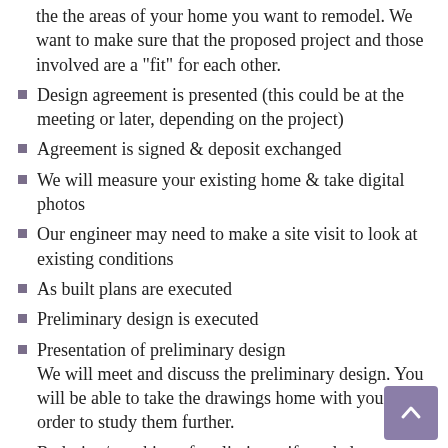the the areas of your home you want to remodel. We want to make sure that the proposed project and those involved are a "fit" for each other.
Design agreement is presented (this could be at the meeting or later, depending on the project)
Agreement is signed & deposit exchanged
We will measure your existing home & take digital photos
Our engineer may need to make a site visit to look at existing conditions
As built plans are executed
Preliminary design is executed
Presentation of preliminary design
We will meet and discuss the preliminary design. You will be able to take the drawings home with you in order to study them further.
Redesign/tweaking of preliminary if needed
Presentation of tweaked preliminary (The above two steps may need to be repeated a limited number of times)
Approval of preliminary
You should be sure you are comfortable with the design at this point, as changes made after approval of the